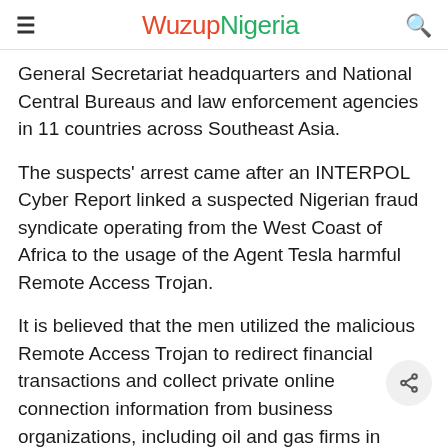WuzupNigeria
General Secretariat headquarters and National Central Bureaus and law enforcement agencies in 11 countries across Southeast Asia.
The suspects' arrest came after an INTERPOL Cyber Report linked a suspected Nigerian fraud syndicate operating from the West Coast of Africa to the usage of the Agent Tesla harmful Remote Access Trojan.
It is believed that the men utilized the malicious Remote Access Trojan to redirect financial transactions and collect private online connection information from business organizations, including oil and gas firms in South East Asia, the Middle East, and North Africa.
A note to the reader from the European...